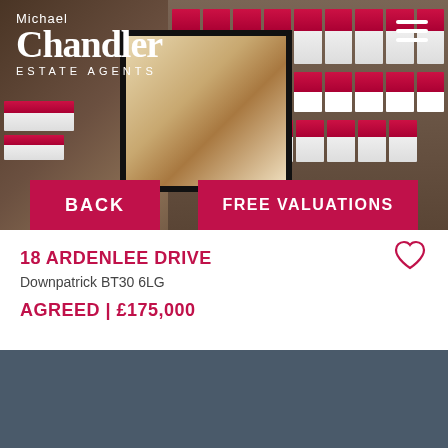[Figure (photo): Michael Chandler Estate Agents office interior/exterior with property brochures on display racks and a framed property image. Navigation hamburger menu top right. Two buttons: BACK and FREE VALUATIONS.]
18 ARDENLEE DRIVE
Downpatrick BT30 6LG
AGREED | £175,000